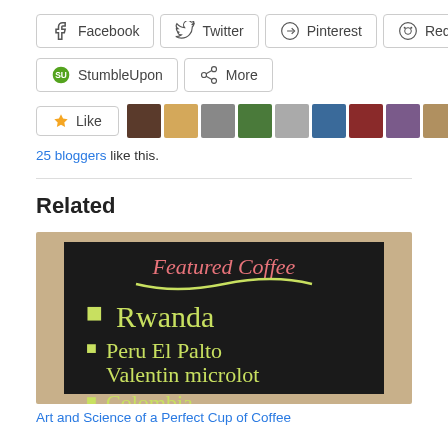[Figure (other): Social media share buttons: Facebook, Twitter, Pinterest, Reddit, StumbleUpon, More]
[Figure (other): Like button with strip of 11 avatar thumbnails of bloggers]
25 bloggers like this.
Related
[Figure (photo): Photo of a chalkboard sign reading 'Featured Coffee' with items Rwanda, Peru El Palto Valentin microlot, Colombia]
Art and Science of a Perfect Cup of Coffee